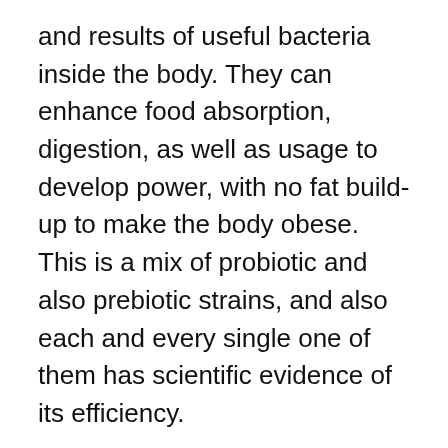and results of useful bacteria inside the body. They can enhance food absorption, digestion, as well as usage to develop power, with no fat build-up to make the body obese. This is a mix of probiotic and also prebiotic strains, and also each and every single one of them has scientific evidence of its efficiency.
There is no chance this supplement can fail for an individual, yet if the customer is unhappy, he can obtain a full reimbursement within 180 days of purchase. If you have actually determined to give it a try, do not believe any longer and visit the official internet site today to confirm the orders. The supply is selling quickly, and it may finish soon. Acquire LeanBiome while it is still offered using